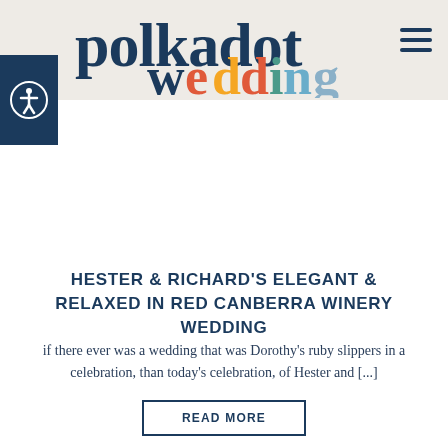polkadot wedding
HESTER & RICHARD'S ELEGANT & RELAXED IN RED CANBERRA WINERY WEDDING
if there ever was a wedding that was Dorothy's ruby slippers in a celebration, than today's celebration, of Hester and [...]
READ MORE